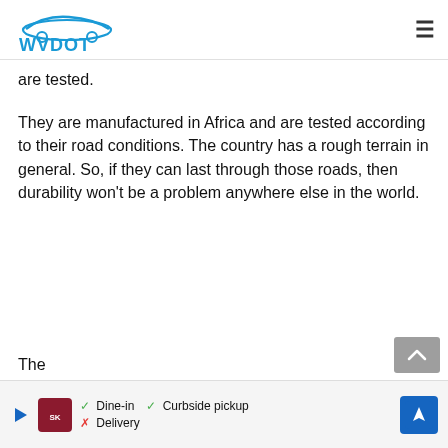WVDOT
are tested.
They are manufactured in Africa and are tested according to their road conditions. The country has a rough terrain in general. So, if they can last through those roads, then durability won’t be a problem anywhere else in the world.
The...
[Figure (other): Advertisement banner showing Smoothie King restaurant ad with dine-in, curbside pickup, and delivery options, and a map direction icon]